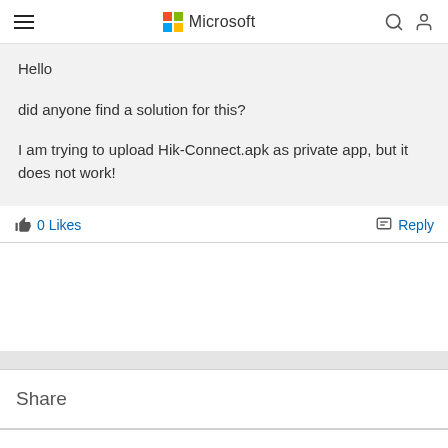Microsoft
Hello

did anyone find a solution for this?

I am trying to upload Hik-Connect.apk as private app, but it does not work!
0 Likes
Reply
Share